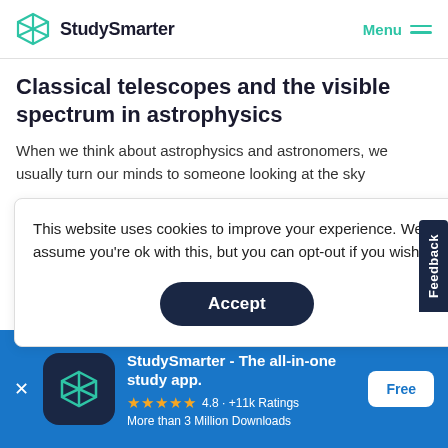StudySmarter | Menu
Classical telescopes and the visible spectrum in astrophysics
When we think about astrophysics and astronomers, we usually turn our minds to someone looking at the sky
This website uses cookies to improve your experience. We'll assume you're ok with this, but you can opt-out if you wish.
Accept
StudySmarter - The all-in-one study app.
★★★★★  4.8 · +11k Ratings
More than 3 Million Downloads
Free